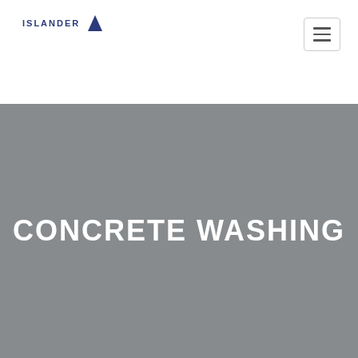[Figure (logo): Islanded company logo with text 'ISLANDER' and a dark blue triangle/sail icon]
[Figure (other): Hamburger menu button with three horizontal lines inside a rounded rectangle border]
CONCRETE WASHING